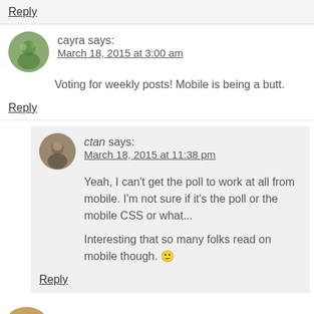Reply
cayra says: March 18, 2015 at 3:00 am
Voting for weekly posts! Mobile is being a butt.
Reply
ctan says: March 18, 2015 at 11:38 pm
Yeah, I can't get the poll to work at all from mobile. I'm not sure if it's the poll or the mobile CSS or what...
Interesting that so many folks read on mobile though. 🙂
Reply